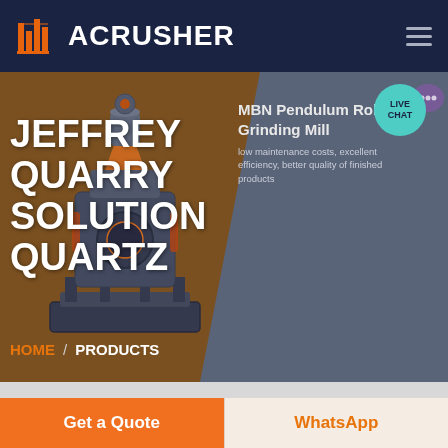ACRUSHER
JEFFREY QUARRY SOLUTION QUARTZ
MBN Pendulum Roller Grinding Mill
low maintenance costs, excellent efficiency, better quality of finished products
HOME / PRODUCTS
[Figure (screenshot): ACrusher website screenshot showing a large industrial grinding mill machine on a dark background with hero text overlay]
Get a Quote
WhatsApp